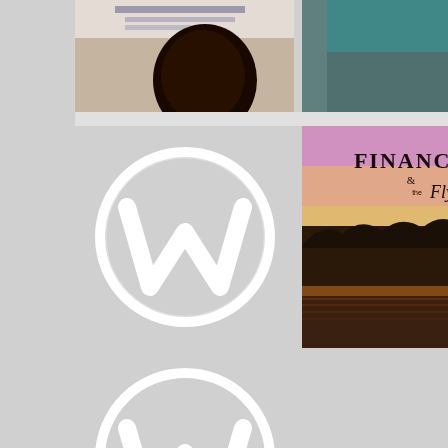[Figure (photo): Photo of a person with dark hair in front of a whiteboard with Arabic text]
[Figure (photo): Photo of a person walking near a teal/green surface, possibly a pool or car]
[Figure (logo): WordPress logo (white W in circle) on gray background]
[Figure (photo): Finance & the Fly blog header image - sunset over lake with trees, text reads FINANCE & the Fly]
[Figure (logo): WordPress logo (white W in circle) on gray background]
[Figure (other): Empty gray cell, no content]